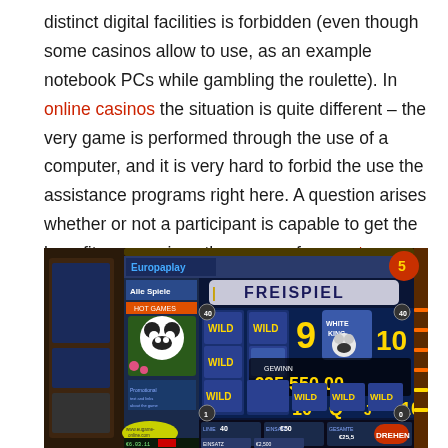distinct digital facilities is forbidden (even though some casinos allow to use, as an example notebook PCs while gambling the roulette). In online casinos the situation is quite different – the very game is performed through the use of a computer, and it is very hard to forbid the use the assistance programs right here. A question arises whether or not a participant is capable to get the benefit over casinos the usage of computer packages.
[Figure (screenshot): Screenshot of Europaplay online casino showing a slot machine game with 'FREISPIEL' banner, WILD symbols, panda mascot, and a win display of €25,550.00]